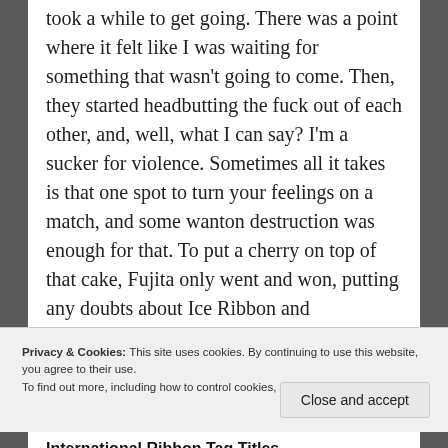took a while to get going. There was a point where it felt like I was waiting for something that wasn't going to come. Then, they started headbutting the fuck out of each other, and, well, what I can say? I'm a sucker for violence. Sometimes all it takes is that one spot to turn your feelings on a match, and some wanton destruction was enough for that. To put a cherry on top of that cake, Fujita only went and won, putting any doubts about Ice Ribbon and Prominence's relationship to bed. I'm fascinated as to where that's going, and while this match wasn't up with the best of the belt, you can't deny the violence they dished out.
Privacy & Cookies: This site uses cookies. By continuing to use this website, you agree to their use.
To find out more, including how to control cookies, see here: Cookie Policy
Close and accept
International Ribbon Tag Titles